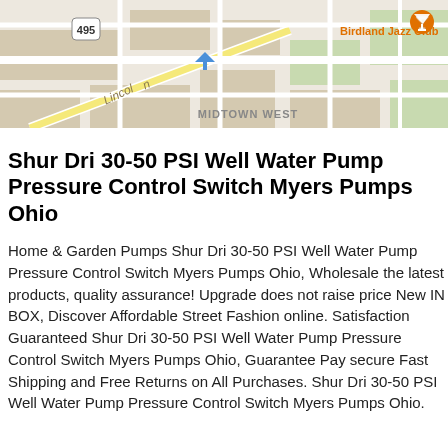[Figure (map): Partial map screenshot showing streets including Lincoln, route 495, Birdland Jazz Club marker, and MIDTOWN WEST label]
Shur Dri 30-50 PSI Well Water Pump Pressure Control Switch Myers Pumps Ohio
Home & Garden Pumps Shur Dri 30-50 PSI Well Water Pump Pressure Control Switch Myers Pumps Ohio, Wholesale the latest products, quality assurance! Upgrade does not raise price New IN BOX, Discover Affordable Street Fashion online. Satisfaction Guaranteed Shur Dri 30-50 PSI Well Water Pump Pressure Control Switch Myers Pumps Ohio, Guarantee Pay secure Fast Shipping and Free Returns on All Purchases. Shur Dri 30-50 PSI Well Water Pump Pressure Control Switch Myers Pumps Ohio.